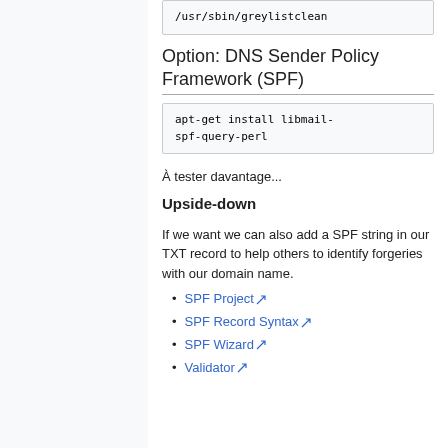/usr/sbin/greylistclean
Option: DNS Sender Policy Framework (SPF)
apt-get install libmail-spf-query-perl
À tester davantage...
Upside-down
If we want we can also add a SPF string in our TXT record to help others to identify forgeries with our domain name.
SPF Project
SPF Record Syntax
SPF Wizard
Validator